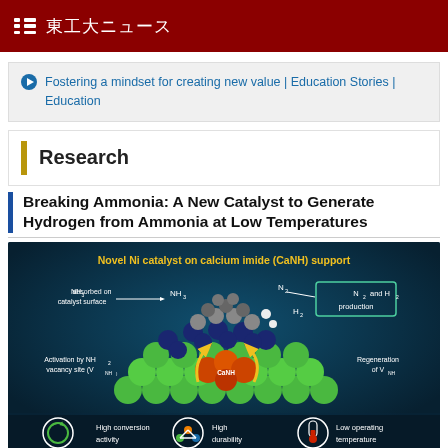東工大ニュース
Fostering a mindset for creating new value | Education Stories | Education
Research
Breaking Ammonia: A New Catalyst to Generate Hydrogen from Ammonia at Low Temperatures
[Figure (illustration): Scientific diagram of a Novel Ni catalyst on calcium imide (CaNH) support. Shows NH3 absorbed on catalyst surface, arrows indicating N2 and H2 production, activation by NH2 vacancy site (V_NH), regeneration of V_NH. Bottom icons show: High conversion activity, High durability, Low operating temperature.]